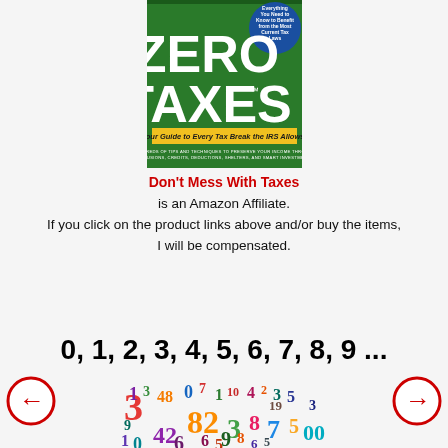[Figure (illustration): Book cover for 'Zero Taxes' — green background with large white text reading ZERO TAXES, subtitle 'Your Guide to Every Tax Break the IRS Allows!', small circular badge in upper right]
Don't Mess With Taxes is an Amazon Affiliate. If you click on the product links above and/or buy the items, I will be compensated.
0, 1, 2, 3, 4, 5, 6, 7, 8, 9 ...
[Figure (illustration): Colorful jumbled numbers in multiple colors and sizes]
[Figure (illustration): Left navigation arrow button (red arrow in circle)]
[Figure (illustration): Right navigation arrow button (red arrow in circle)]